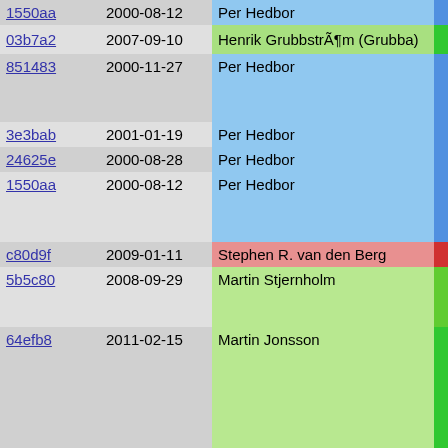| Hash | Date | Author |  | Code |
| --- | --- | --- | --- | --- |
| 1550aa | 2000-08-12 | Per Hedbor |  | { |
| 03b7a2 | 2007-09-10 | Henrik Grubbström (Grubba) |  | if( |
| 851483 | 2000-11-27 | Per Hedbor |  | {
  re
} |
| 3e3bab | 2001-01-19 | Per Hedbor |  | Conf |
| 24625e | 2000-08-28 | Per Hedbor |  | if( |
| 1550aa | 2000-08-12 | Per Hedbor |  | {
  if
  { |
| c80d9f | 2009-01-11 | Stephen R. van den Berg |  |  |
| 5b5c80 | 2008-09-29 | Martin Stjernholm |  |  |
| 64efb8 | 2011-02-15 | Martin Jonsson |  |  |
| 5b5c80 | 2008-09-29 | Martin Stjernholm |  |  |